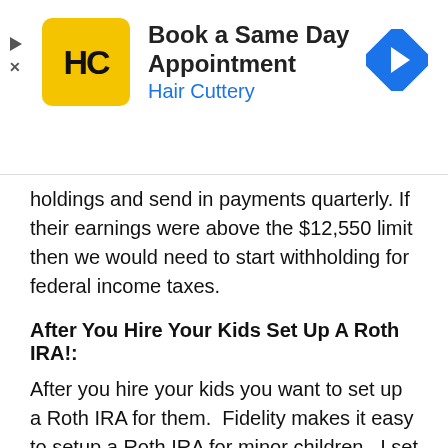[Figure (other): Hair Cuttery advertisement banner with logo, text 'Book a Same Day Appointment / Hair Cuttery', and a blue navigation arrow icon on the right. A play/skip arrow and X button appear on the left edge.]
...withholdings and send in payments quarterly. If their earnings were above the $12,550 limit then we would need to start withholding for federal income taxes.
After You Hire Your Kids Set Up A Roth IRA!:
After you hire your kids you want to set up a Roth IRA for them.  Fidelity makes it easy to setup a Roth IRA for minor children.  I set up accounts for all 3 kids on the same day and it took less than a half hour.  When I setup the first account it let me set up a username and password.  I thought that this would be unique for each child, but it is not.  The